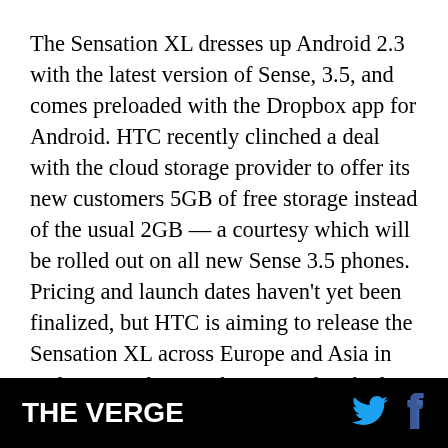The Sensation XL dresses up Android 2.3 with the latest version of Sense, 3.5, and comes preloaded with the Dropbox app for Android. HTC recently clinched a deal with the cloud storage provider to offer its new customers 5GB of free storage instead of the usual 2GB — a courtesy which will be rolled out on all new Sense 3.5 phones. Pricing and launch dates haven't yet been finalized, but HTC is aiming to release the Sensation XL across Europe and Asia in early November. We hate to end on bad news, but HTC told us categorically that the XL will not be coming to the US. When asked about comparable devices making their way Stateside
THE VERGE